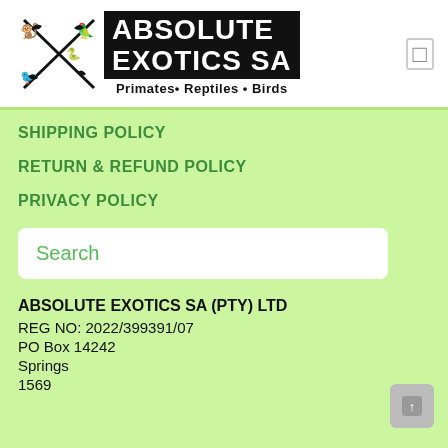[Figure (logo): Absolute Exotics SA logo with animal silhouettes (monkey, bird, reptile) arranged in an X pattern, with bold black text block reading ABSOLUTE EXOTICS SA and tagline Primates • Reptiles • Birds]
SHIPPING POLICY
RETURN & REFUND POLICY
PRIVACY POLICY
Search
ABSOLUTE EXOTICS SA (PTY) LTD
REG NO: 2022/399391/07
PO Box 14242
Springs
1569